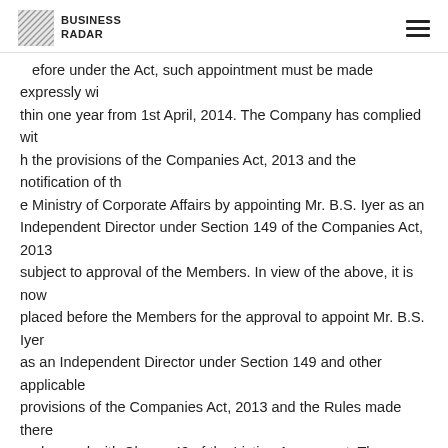BUSINESS RADAR
...efore under the Act, such appointment must be made expressly within one year from 1st April, 2014. The Company has complied with the provisions of the Companies Act, 2013 and the notification of the Ministry of Corporate Affairs by appointing Mr. B.S. Iyer as an Independent Director under Section 149 of the Companies Act, 2013 subject to approval of the Members. In view of the above, it is now placed before the Members for the approval to appoint Mr. B.S. Iyer as an Independent Director under Section 149 and other applicable provisions of the Companies Act, 2013 and the Rules made there under read with Clause 49 of the Listing Agreement. The Nomination Remuneration Committee of the Company at its meeting held on March 27, 2015 has recommended the appointment of Mr. B.S. Iyer as Independent Director under Section 149 of the Companies Act, 2013 from March 27, 2015 to March 31, 2016. The Company has received notice in writing from a Member along with the deposit of Rs. 1,00,000/- proposing the candidature of Mr. B.S. Iyer for the office of Director of the Company. The Company has received from Mr. B.S...